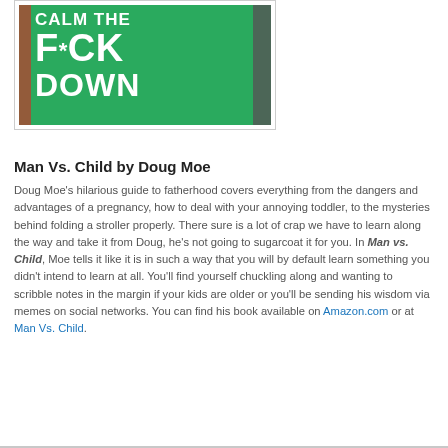[Figure (photo): Book cover photo showing a green sign/board with white bold text reading 'CALM THE F*CK DOWN']
Man Vs. Child by Doug Moe
Doug Moe's hilarious guide to fatherhood covers everything from the dangers and advantages of a pregnancy, how to deal with your annoying toddler, to the mysteries behind folding a stroller properly. There sure is a lot of crap we have to learn along the way and take it from Doug, he's not going to sugarcoat it for you. In Man vs. Child, Moe tells it like it is in such a way that you will by default learn something you didn't intend to learn at all. You'll find yourself chuckling along and wanting to scribble notes in the margin if your kids are older or you'll be sending his wisdom via memes on social networks. You can find his book available on Amazon.com or at Man Vs. Child.